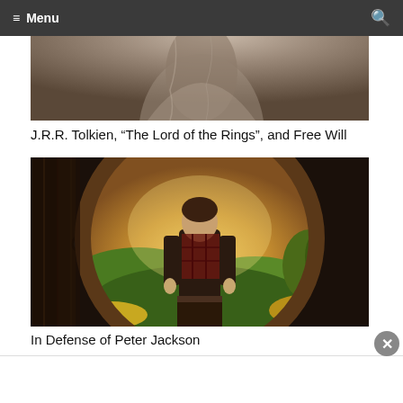≡ Menu
[Figure (photo): Close-up photo of a shirtless figure, dark and dramatic, partially cropped]
J.R.R. Tolkien, “The Lord of the Rings”, and Free Will
[Figure (photo): A man standing in a circular hobbit-hole door opening, with lush green fields and golden sunset light visible behind him]
In Defense of Peter Jackson